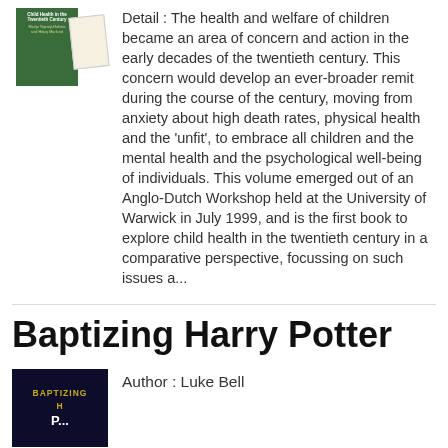[Figure (illustration): Book cover thumbnail for a child health history book, green cover with cream page, shown in top-left section]
Detail : The health and welfare of children became an area of concern and action in the early decades of the twentieth century. This concern would develop an ever-broader remit during the course of the century, moving from anxiety about high death rates, physical health and the 'unfit', to embrace all children and the mental health and the psychological well-being of individuals. This volume emerged out of an Anglo-Dutch Workshop held at the University of Warwick in July 1999, and is the first book to explore child health in the twentieth century in a comparative perspective, focussing on such issues a...
Baptizing Harry Potter
[Figure (illustration): Book cover for 'Baptizing Harry Potter' with dark navy background, gold title text 'BAPTIZING H...' in top portion]
Author : Luke Bell